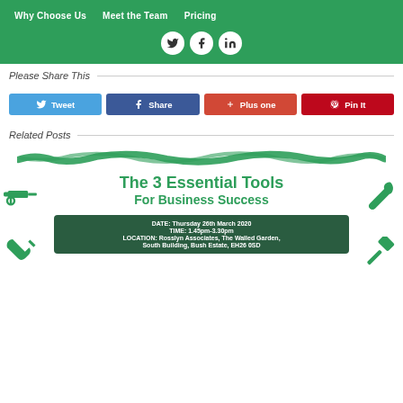Why Choose Us | Meet the Team | Pricing
[Figure (other): Social media icons (Twitter, Facebook, LinkedIn) in white circles on green background]
Please Share This
[Figure (other): Social share buttons: Tweet (blue), Share (dark blue), Plus one (orange-red), Pin It (dark red)]
Related Posts
[Figure (illustration): Green brush stroke decorative divider]
[Figure (infographic): The 3 Essential Tools For Business Success event card with tool icons (drill, wrench, hammer). DATE: Thursday 26th March 2020, TIME: 1.45pm-3.30pm, LOCATION: Rosslyn Associates, The Walled Garden, South Building, Bush Estate, EH26 0SD]